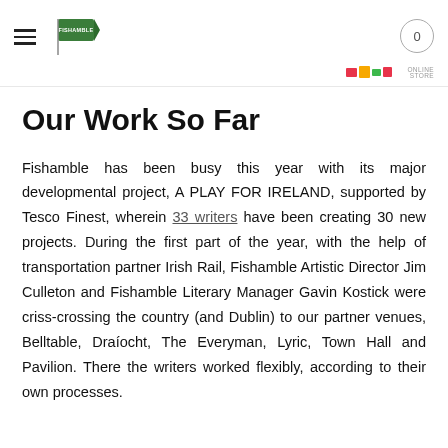Fishamble logo with hamburger menu and cart icon showing 0
Our Work So Far
Fishamble has been busy this year with its major developmental project, A PLAY FOR IRELAND, supported by Tesco Finest, wherein 33 writers have been creating 30 new projects. During the first part of the year, with the help of transportation partner Irish Rail, Fishamble Artistic Director Jim Culleton and Fishamble Literary Manager Gavin Kostick were criss-crossing the country (and Dublin) to our partner venues, Belltable, Draíocht, The Everyman, Lyric, Town Hall and Pavilion. There the writers worked flexibly, according to their own processes.